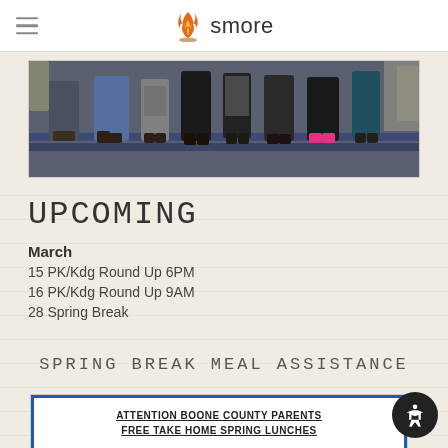smore
[Figure (photo): Photo showing children standing in a row, visible from waist down, in what appears to be a school setting with blue carpet and chairs.]
UPCOMING
March
15 PK/Kdg Round Up 6PM
16 PK/Kdg Round Up 9AM
28 Spring Break
SPRING BREAK MEAL ASSISTANCE
[Figure (other): Card with blue border reading: ATTENTION BOONE COUNTY PARENTS FREE TAKE HOME SPRING LUNCHES]